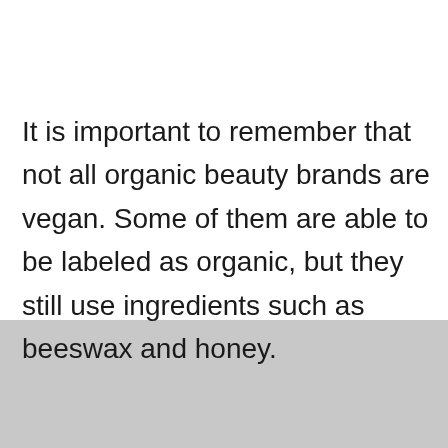It is important to remember that not all organic beauty brands are vegan. Some of them are able to be labeled as organic, but they still use ingredients such as beeswax and honey.